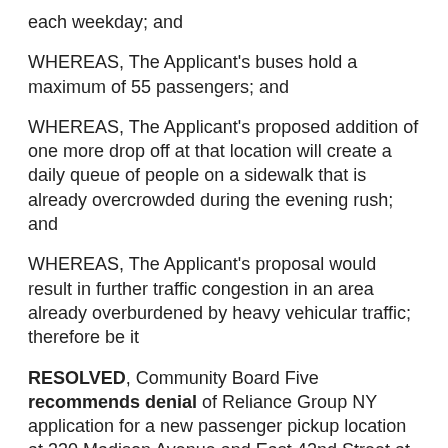each weekday; and
WHEREAS, The Applicant's buses hold a maximum of 55 passengers; and
WHEREAS, The Applicant's proposed addition of one more drop off at that location will create a daily queue of people on a sidewalk that is already overcrowded during the evening rush; and
WHEREAS, The Applicant's proposal would result in further traffic congestion in an area already overburdened by heavy vehicular traffic; therefore be it
RESOLVED, Community Board Five recommends denial of Reliance Group NY application for a new passenger pickup location at 330 Madison Avenue and East 42nd Street at 5:45pm, Monday – Friday; and further be it